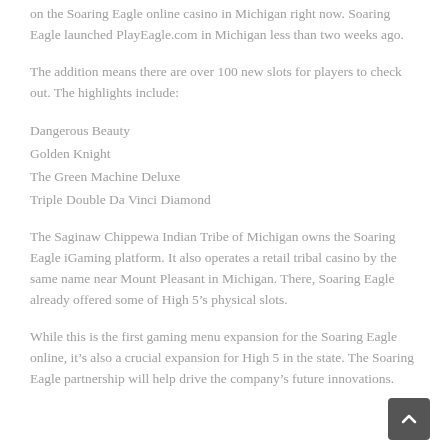on the Soaring Eagle online casino in Michigan right now. Soaring Eagle launched PlayEagle.com in Michigan less than two weeks ago.
The addition means there are over 100 new slots for players to check out. The highlights include:
Dangerous Beauty
Golden Knight
The Green Machine Deluxe
Triple Double Da Vinci Diamond
The Saginaw Chippewa Indian Tribe of Michigan owns the Soaring Eagle iGaming platform. It also operates a retail tribal casino by the same name near Mount Pleasant in Michigan. There, Soaring Eagle already offered some of High 5’s physical slots.
While this is the first gaming menu expansion for the Soaring Eagle online, it’s also a crucial expansion for High 5 in the state. The Soaring Eagle partnership will help drive the company’s future innovations.